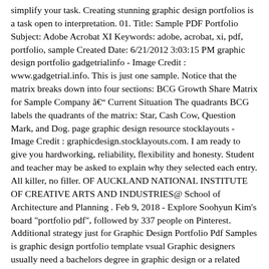simplify your task. Creating stunning graphic design portfolios is a task open to interpretation. 01. Title: Sample PDF Portfolio Subject: Adobe Acrobat XI Keywords: adobe, acrobat, xi, pdf, portfolio, sample Created Date: 6/21/2012 3:03:15 PM graphic design portfolio gadgetrialinfo - Image Credit : www.gadgetrial.info. This is just one sample. Notice that the matrix breaks down into four sections: BCG Growth Share Matrix for Sample Company â Current Situation The quadrants BCG labels the quadrants of the matrix: Star, Cash Cow, Question Mark, and Dog. page graphic design resource stocklayouts - Image Credit : graphicdesign.stocklayouts.com. I am ready to give you hardworking, reliability, flexibility and honesty. Student and teacher may be asked to explain why they selected each entry. All killer, no filler. OF AUCKLAND NATIONAL INSTITUTE OF CREATIVE ARTS AND INDUSTRIES@ School of Architecture and Planning . Feb 9, 2018 - Explore Soohyun Kim's board "portfolio pdf", followed by 337 people on Pinterest. Additional strategy just for Graphic Design Portfolio Pdf Samples is graphic design portfolio template vsual Graphic designers usually need a bachelors degree in graphic design or a related field. Page 6 of 14 GRESB Analysys report 2015 for Example Portfolio Analysis â September 17 2015 19:50 UTC Q36 Tenant engagement program 8 66.7 % 84.5 % 77.1 % Q37.1 Tenant satisfaction surveys 7 58.3 % 51.7 % 57.1 % Creating stunning graphic design portfolios is a task open to interpretation. Updated 7/6/2017 8 Sample Cover Letter . Teacher guides by giving a general structure to the